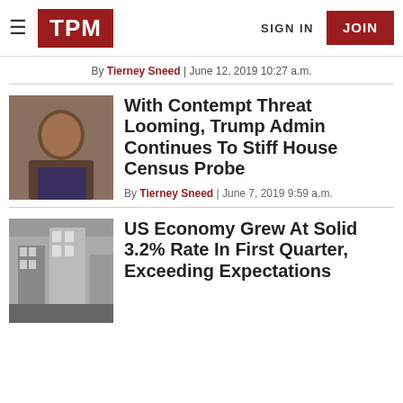TPM | SIGN IN | JOIN
By Tierney Sneed | June 12, 2019 10:27 a.m.
With Contempt Threat Looming, Trump Admin Continues To Stiff House Census Probe
By Tierney Sneed | June 7, 2019 9:59 a.m.
US Economy Grew At Solid 3.2% Rate In First Quarter, Exceeding Expectations